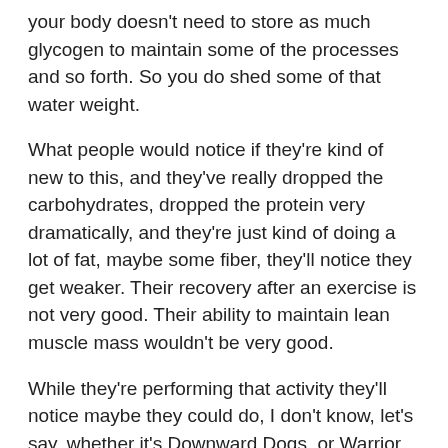your body doesn't need to store as much glycogen to maintain some of the processes and so forth. So you do shed some of that water weight.
What people would notice if they're kind of new to this, and they've really dropped the carbohydrates, dropped the protein very dramatically, and they're just kind of doing a lot of fat, maybe some fiber, they'll notice they get weaker. Their recovery after an exercise is not very good. Their ability to maintain lean muscle mass wouldn't be very good.
While they're performing that activity they'll notice maybe they could do, I don't know, let's say, whether it's Downward Dogs, or Warrior 2, Warrior 3, some of those moves that require a lot of muscle activation, or bench press or squats, whatever, they're going to start failing where they didn't used to fail. They're going to be like, "Gosh, why am I weaker? Why am I so tired? Why do I feel fatigued, lethargic?" That's what that would mean.